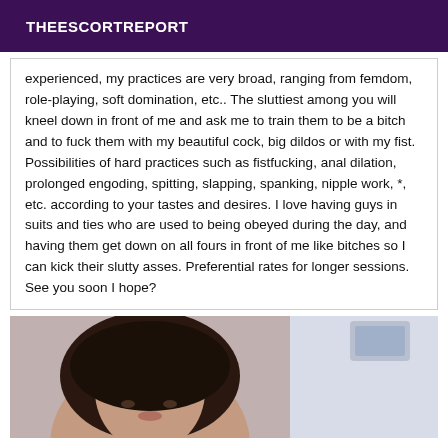THEESCORTREPORT
experienced, my practices are very broad, ranging from femdom, role-playing, soft domination, etc.. The sluttiest among you will kneel down in front of me and ask me to train them to be a bitch and to fuck them with my beautiful cock, big dildos or with my fist. Possibilities of hard practices such as fistfucking, anal dilation, prolonged engoding, spitting, slapping, spanking, nipple work, *, etc. according to your tastes and desires. I love having guys in suits and ties who are used to being obeyed during the day, and having them get down on all fours in front of me like bitches so I can kick their slutty asses. Preferential rates for longer sessions. See you soon I hope?
[Figure (photo): Photo of a woman with dark hair, looking toward the camera]